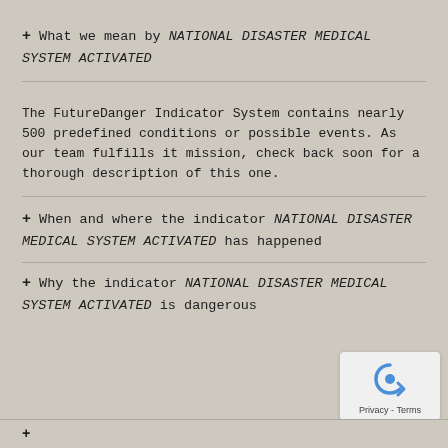+ What we mean by NATIONAL DISASTER MEDICAL SYSTEM ACTIVATED
The FutureDanger Indicator System contains nearly 500 predefined conditions or possible events. As our team fulfills it mission, check back soon for a thorough description of this one.
+ When and where the indicator NATIONAL DISASTER MEDICAL SYSTEM ACTIVATED has happened
+ Why the indicator NATIONAL DISASTER MEDICAL SYSTEM ACTIVATED is dangerous
[Figure (logo): reCAPTCHA privacy badge with blue arrow icon and Privacy - Terms text]